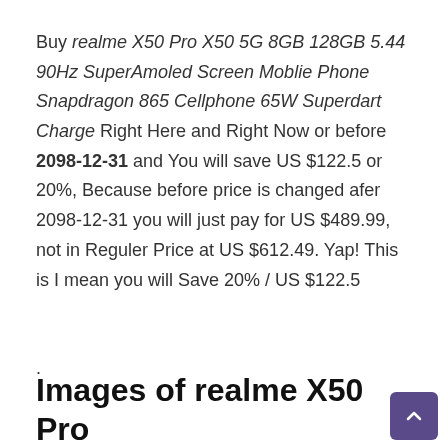Buy realme X50 Pro X50 5G 8GB 128GB 5.44 90Hz SuperAmoled Screen Moblie Phone Snapdragon 865 Cellphone 65W Superdart Charge Right Here and Right Now or before 2098-12-31 and You will save US $122.5 or 20%, Because before price is changed afer 2098-12-31 you will just pay for US $489.99, not in Reguler Price at US $612.49. Yap! This is I mean you will Save 20% / US $122.5
.
Images of realme X50 Pro